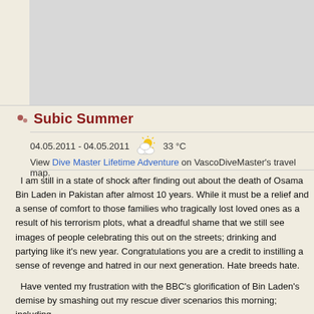[Figure (other): Gray image area at top of page, partially cropped]
Subic Summer
04.05.2011 - 04.05.2011  33 °C
View Dive Master Lifetime Adventure on VascoDiveMaster's travel map.
I am still in a state of shock after finding out about the death of Osama Bin Laden in Pakistan after almost 10 years. While it must be a relief and a sense of comfort to those families who tragically lost loved ones as a result of his terrorism plots, what a dreadful shame that we still see images of people celebrating this out on the streets; drinking and partying like it's new year. Congratulations you are a credit to instilling a sense of revenge and hatred in our next generation. Hate breeds hate.
Have vented my frustration with the BBC's glorification of Bin Laden's demise by smashing out my rescue diver scenarios this morning; including ...